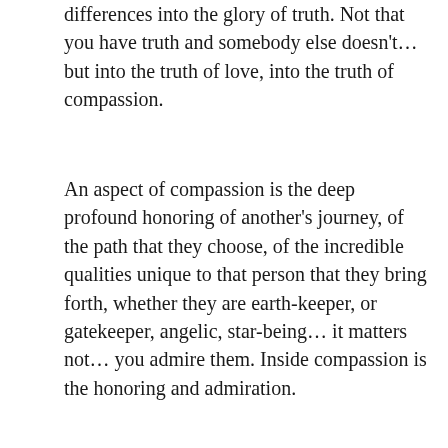differences into the glory of truth. Not that you have truth and somebody else doesn't… but into the truth of love, into the truth of compassion.
An aspect of compassion is the deep profound honoring of another's journey, of the path that they choose, of the incredible qualities unique to that person that they bring forth, whether they are earth-keeper, or gatekeeper, angelic, star-being… it matters not… you admire them. Inside compassion is the honoring and admiration.
Now, where does this begin? Well, first of all, it begins with a balance of head and heart, of your brilliant, intelligent self. This life is not about dumbing down… it is taking extraordinary leaps into the full brilliance of what you are fully capable of, and that only occurs in the balance of head and